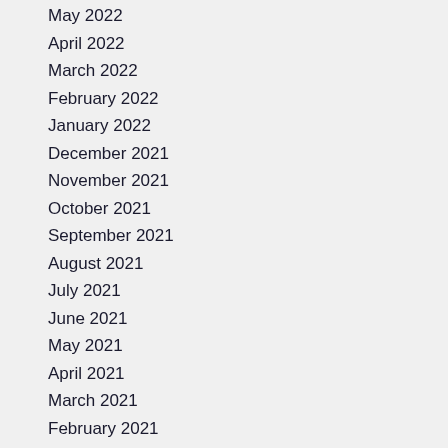May 2022
April 2022
March 2022
February 2022
January 2022
December 2021
November 2021
October 2021
September 2021
August 2021
July 2021
June 2021
May 2021
April 2021
March 2021
February 2021
January 2021
2020 Issues
2019 Issues
2018 Issues
2017 Issues
2016 Issues
2015 issues
2014 issues
2013 issues